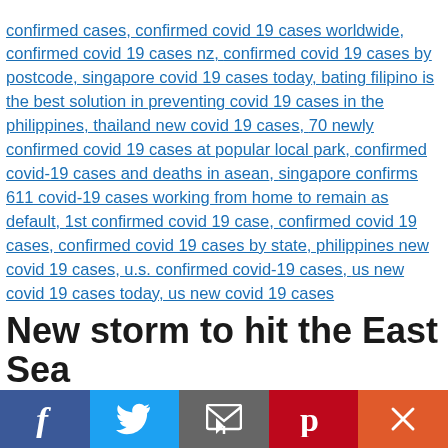confirmed cases, confirmed covid 19 cases worldwide, confirmed covid 19 cases nz, confirmed covid 19 cases by postcode, singapore covid 19 cases today, bating filipino is the best solution in preventing covid 19 cases in the philippines, thailand new covid 19 cases, 70 newly confirmed covid 19 cases at popular local park, confirmed covid-19 cases and deaths in asean, singapore confirms 611 covid-19 cases working from home to remain as default, 1st confirmed covid 19 case, confirmed covid 19 cases, confirmed covid 19 cases by state, philippines new covid 19 cases, u.s. confirmed covid-19 cases, us new covid 19 cases today, us new covid 19 cases
New storm to hit the East Sea